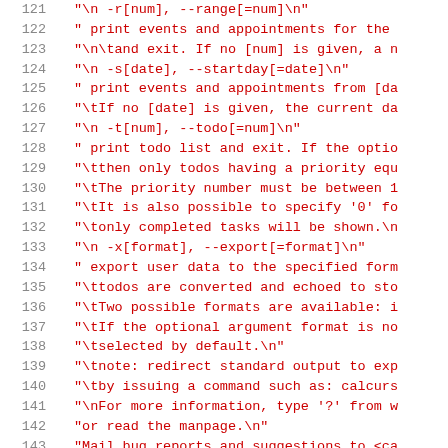[Figure (screenshot): Source code listing showing lines 121-148 of a C program with line numbers in gray on the left, string literals in red/orange, and keywords in blue. The code contains help text for a calcurse calendar application command-line options.]